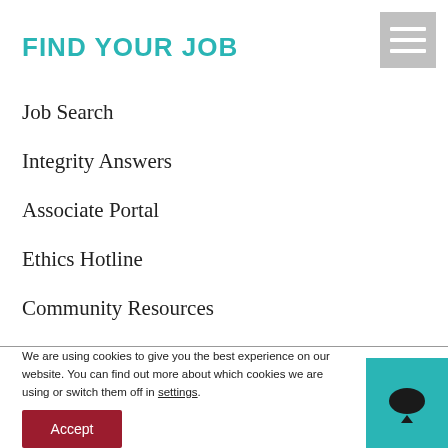FIND YOUR JOB
Job Search
Integrity Answers
Associate Portal
Ethics Hotline
Community Resources
We are using cookies to give you the best experience on our website. You can find out more about which cookies we are using or switch them off in settings.
Accept